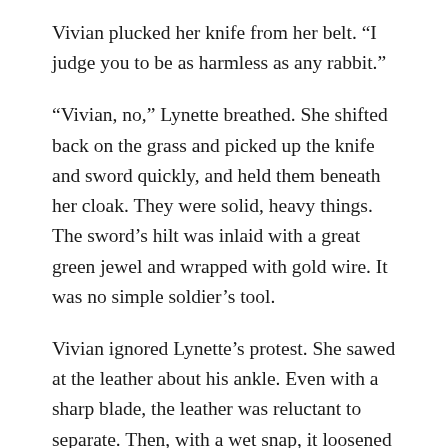Vivian plucked her knife from her belt. “I judge you to be as harmless as any rabbit.”
“Vivian, no,” Lynette breathed. She shifted back on the grass and picked up the knife and sword quickly, and held them beneath her cloak. They were solid, heavy things. The sword’s hilt was inlaid with a great green jewel and wrapped with gold wire. It was no simple soldier’s tool.
Vivian ignored Lynette’s protest. She sawed at the leather about his ankle. Even with a sharp blade, the leather was reluctant to separate. Then, with a wet snap, it loosened and fell.
Almost as if they wished her permission, for there…